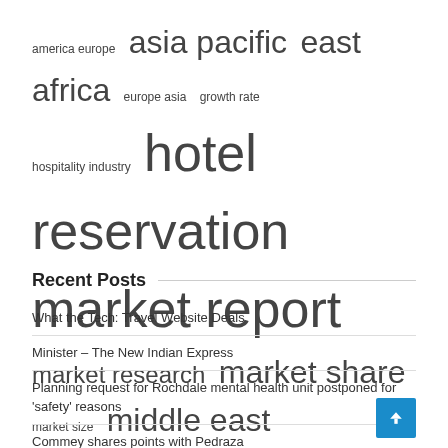[Figure (infographic): Tag cloud with keywords of varying sizes: america europe (small), asia pacific (large), east africa (large), europe asia (small), growth rate (small), hospitality industry (small), hotel reservation (very large), market report (very large), market research (medium), market share (large), market size (small), middle east (large), north america (very large), research report (medium), united states (largest)]
Recent Posts
What the Tech: Travel Website Deals
Minister – The New Indian Express
Planning request for Rochdale mental health unit postponed for 'safety' reasons
Commey shares points with Pedraza
Bollywood celebrities arrived at Kunal Arnita's pre wedding – Sangri Today